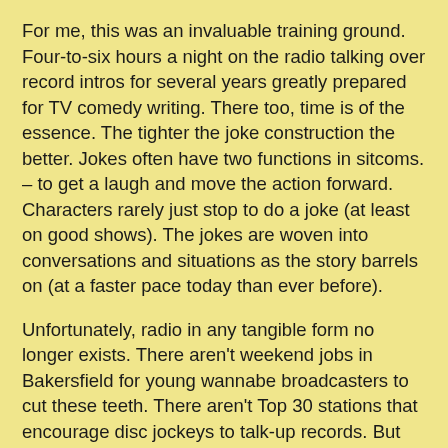For me, this was an invaluable training ground. Four-to-six hours a night on the radio talking over record intros for several years greatly prepared for TV comedy writing. There too, time is of the essence. The tighter the joke construction the better. Jokes often have two functions in sitcoms. – to get a laugh and move the action forward. Characters rarely just stop to do a joke (at least on good shows). The jokes are woven into conversations and situations as the story barrels on (at a faster pace today than ever before).
Unfortunately, radio in any tangible form no longer exists. There aren't weekend jobs in Bakersfield for young wannabe broadcasters to cut these teeth. There aren't Top 30 stations that encourage disc jockeys to talk-up records. But it's worth keeping the concept in your head. 10 seconds is a long time. 18 seconds is an eternity. When you write a joke, go back. Can you trim it? Is there one word that can replace three? Is there a funnier word or concept? The good news in writing vs. jocking – when you write a joke you don't have 2:35 to come up with the next one. 10 seconds may be an eternity, but 2:35 goes by in a blink.